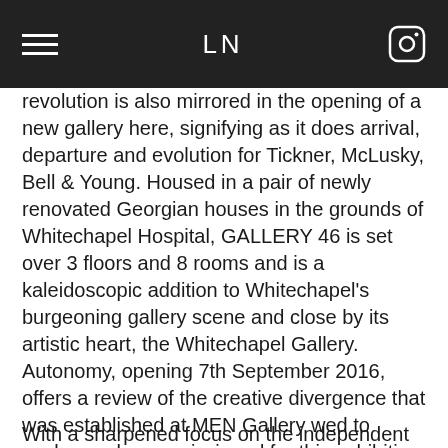LN
revolution is also mirrored in the opening of a new gallery here, signifying as it does arrival, departure and evolution for Tickner, McLusky, Bell & Young. Housed in a pair of newly renovated Georgian houses in the grounds of Whitechapel Hospital, GALLERY 46 is set over 3 floors and 8 rooms and is a kaleidoscopic addition to Whitechapel's burgeoning gallery scene and close by its artistic heart, the Whitechapel Gallery.
Autonomy, opening 7th September 2016, offers a review of the creative divergence that was established at MEN Gallery wed to works newly commissioned for this exhibition featuring over a dozen artists.
With a sharpened focus on the independent